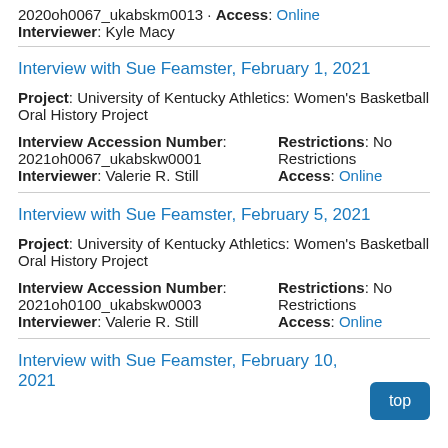2020oh0067_ukabskm0013 · Access: Online
Interviewer: Kyle Macy
Interview with Sue Feamster, February 1, 2021
Project: University of Kentucky Athletics: Women's Basketball Oral History Project
Interview Accession Number: 2021oh0067_ukabskw0001  Restrictions: No Restrictions  Access: Online  Interviewer: Valerie R. Still
Interview with Sue Feamster, February 5, 2021
Project: University of Kentucky Athletics: Women's Basketball Oral History Project
Interview Accession Number: 2021oh0100_ukabskw0003  Restrictions: No Restrictions  Access: Online  Interviewer: Valerie R. Still
Interview with Sue Feamster, February 10, 2021